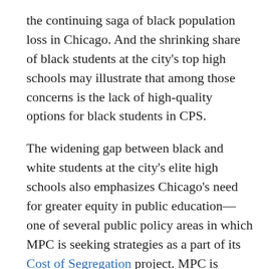the continuing saga of black population loss in Chicago. And the shrinking share of black students at the city's top high schools may illustrate that among those concerns is the lack of high-quality options for black students in CPS.
The widening gap between black and white students at the city's elite high schools also emphasizes Chicago's need for greater equity in public education—one of several public policy areas in which MPC is seeking strategies as a part of its Cost of Segregation project. MPC is working with numerous stakeholders and policy experts to release such recommendations in 2018 aimed at increasing equity and decreasing segregation.
Jones College Prep, Lane Tech, Northside College Prep, Payton College Prep, and Whitney Young